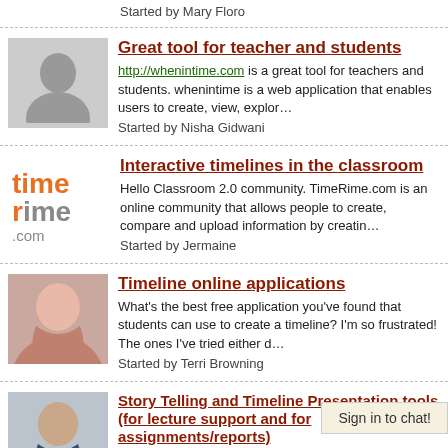Started by Mary Floro
[Figure (photo): Gray silhouette placeholder avatar]
Great tool for teacher and students
http://whenintime.com is a great tool for teachers and students. whenintime is a web application that enables users to create, view, explor… Started by Nisha Gidwani
[Figure (logo): TimeRime.com logo in orange and gray text]
Interactive timelines in the classroom
Hello Classroom 2.0 community. TimeRime.com is an online community that allows people to create, compare and upload information by creatin… Started by Jermaine
[Figure (photo): Photo of a woman with reddish-brown hair]
Timeline online applications
What's the best free application you've found that students can use to create a timeline? I'm so frustrated! The ones I've tried either d… Started by Terri Browning
[Figure (photo): Photo of a man in a suit]
Story Telling and Timeline Presentation tools (for lecture support and for assignments/reports)
Looks like the "Presentation" Tool category is the most logical place to discuss this sort of thing, but I am s…